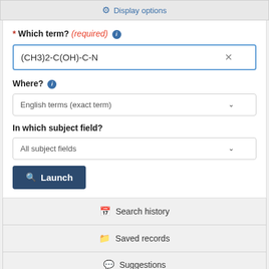Display options
* Which term? (required)
(CH3)2-C(OH)-C-N
Where?
English terms (exact term)
In which subject field?
All subject fields
Launch
Search history
Saved records
Suggestions